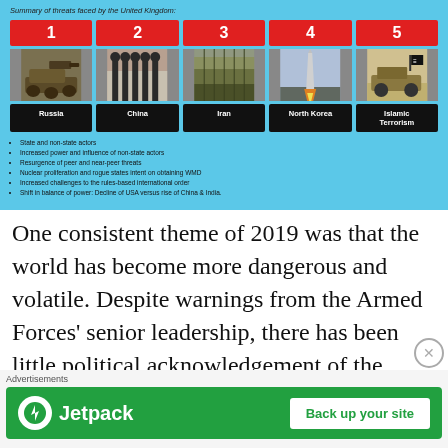[Figure (infographic): Infographic titled 'Summary of threats faced by the United Kingdom' showing 5 numbered threats (1–5) with photos and labels: 1 Russia (tank), 2 China (troops), 3 Iran (military rows), 4 North Korea (missile), 5 Islamic Terrorism (armed vehicle). Below are bullet points: State and non-state actors; Increased power and influence of non-state actors; Resurgence of peer and near-peer threats; Nuclear proliferation and rogue states intent on obtaining WMD; Increased challenges to the rules-based international order; Shift in balance of power: Decline of USA versus rise of China & India.]
One consistent theme of 2019 was that the world has become more dangerous and volatile. Despite warnings from the Armed Forces' senior leadership, there has been little political acknowledgement of the increased risks we face,
[Figure (other): Jetpack advertisement banner: green background, Jetpack logo with lightning bolt, text 'Back up your site' button]